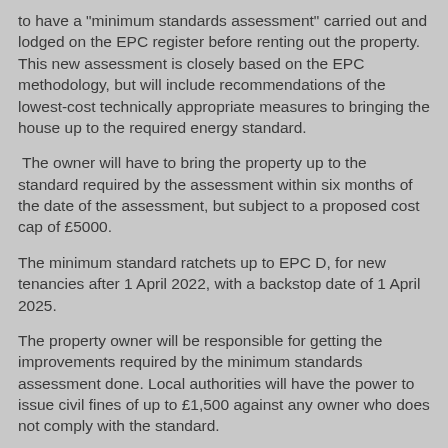to have a "minimum standards assessment" carried out and lodged on the EPC register before renting out the property. This new assessment is closely based on the EPC methodology, but will include recommendations of the lowest-cost technically appropriate measures to bringing the house up to the required energy standard.
The owner will have to bring the property up to the standard required by the assessment within six months of the date of the assessment, but subject to a proposed cost cap of £5000.
The minimum standard ratchets up to EPC D, for new tenancies after 1 April 2022, with a backstop date of 1 April 2025.
The property owner will be responsible for getting the improvements required by the minimum standards assessment done. Local authorities will have the power to issue civil fines of up to £1,500 against any owner who does not comply with the standard.